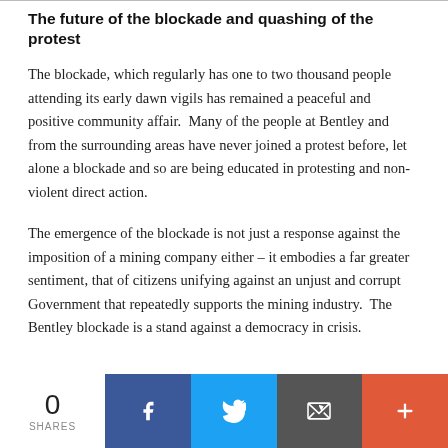The future of the blockade and quashing of the protest
The blockade, which regularly has one to two thousand people attending its early dawn vigils has remained a peaceful and positive community affair.  Many of the people at Bentley and from the surrounding areas have never joined a protest before, let alone a blockade and so are being educated in protesting and non-violent direct action.
The emergence of the blockade is not just a response against the imposition of a mining company either – it embodies a far greater sentiment, that of citizens unifying against an unjust and corrupt Government that repeatedly supports the mining industry.  The Bentley blockade is a stand against a democracy in crisis.
0 SHARES | Facebook | Twitter | Email | More